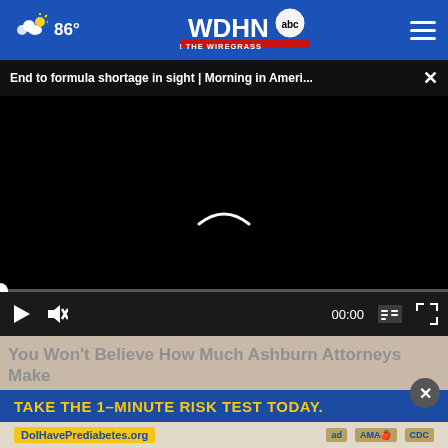86° WDHN abc FOR THE WIREGRASS
End to formula shortage in sight | Morning in Ameri... ✕
[Figure (screenshot): Black video player with loading spinner and playback controls showing 00:00 timecode]
You Won't Believe How Much Ashburn Attorneys Make
Atto...
TAKE THE 1-MINUTE RISK TEST TODAY.
DoIHavePrediabetes.org | ad | AMA | CDC